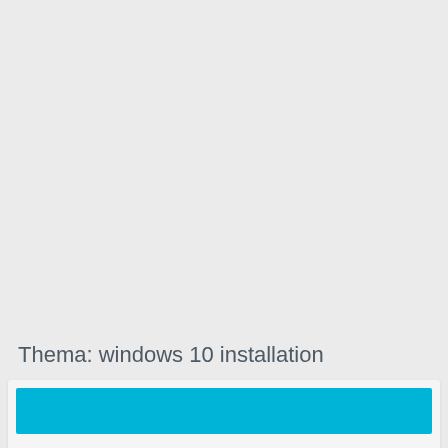Thema: windows 10 installation
[Figure (screenshot): Partial view of a card or UI element with a cyan/light-blue header bar at the bottom of the page]